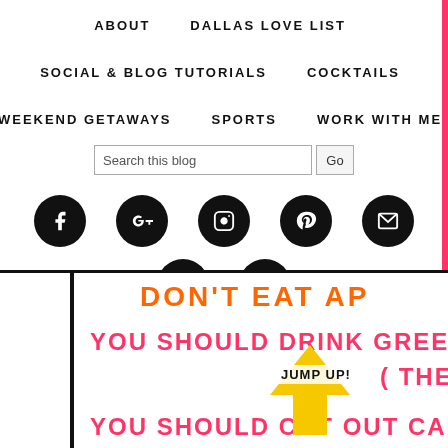ABOUT   DALLAS LOVE LIST
SOCIAL & BLOG TUTORIALS   COCKTAILS
WEEKEND GETAWAYS   SPORTS   WORK WITH ME
Search this blog   Go
[Figure (infographic): Row of 5 black circular social media icons: Facebook, Google+, Instagram, Pinterest, Email]
[Figure (infographic): Row of 2 black circular social media icons: Snapchat, Twitter]
DON'T EAT AP...
YOU SHOULD DRINK GREEN TE...
(THE HECK...
JUMP UP!
YOU SHOULD CUT OUT CA...